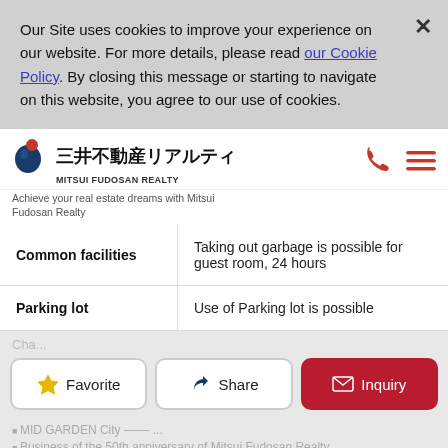Our Site uses cookies to improve your experience on our website. For more details, please read our Cookie Policy. By closing this message or starting to navigate on this website, you agree to our use of cookies.
[Figure (logo): Mitsui Fudosan Realty logo with Japanese text 三井不動産リアルティ and English text MITSUI FUDOSAN REALTY]
Achieve your real estate dreams with Mitsui Fudosan Realty
|  |  |
| --- | --- |
| Common facilities | Taking out garbage is possible for guest room, 24 hours |
| Parking lot | Use of Parking lot is possible |
Favorite  Share  Inquiry
MID GARDEN City — ...
Business of the 50th anniversary of Mitsui Fudosan Realty